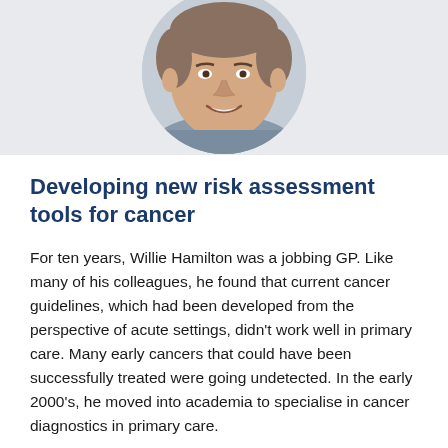[Figure (photo): Circular portrait photo of Willie Hamilton, a smiling middle-aged man, against a light grey background.]
Developing new risk assessment tools for cancer
For ten years, Willie Hamilton was a jobbing GP. Like many of his colleagues, he found that current cancer guidelines, which had been developed from the perspective of acute settings, didn't work well in primary care. Many early cancers that could have been successfully treated were going undetected. In the early 2000's, he moved into academia to specialise in cancer diagnostics in primary care.